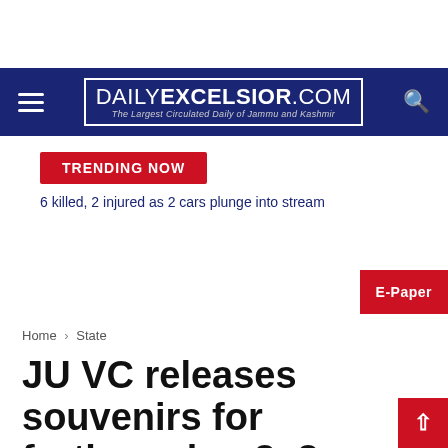DAILYEXCELSIOR.COM — The Largest Circulated Daily of Jammu and Kashmir
TRENDING NOW
6 killed, 2 injured as 2 cars plunge into stream
E-Paper
Home › State
JU VC releases souvenirs for forthcoming 3×3 Summer State Showdown